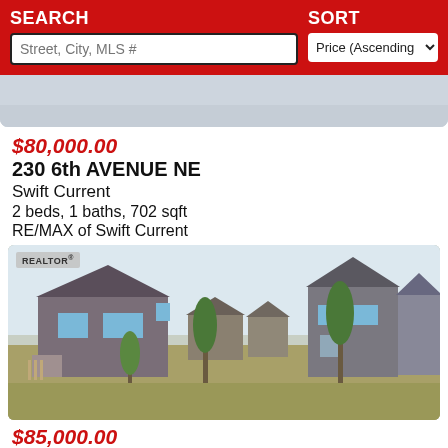SEARCH | SORT | Street, City, MLS # | Price (Ascending)
[Figure (photo): Partial top of a property listing photo, light grey/blue sky]
$80,000.00
230 6th AVENUE NE
Swift Current
2 beds, 1 baths, 702 sqft
RE/MAX of Swift Current
[Figure (photo): Exterior photo of residential homes on a hill with trees and open land in foreground, sky background, REALTOR badge in top left]
$85,000.00